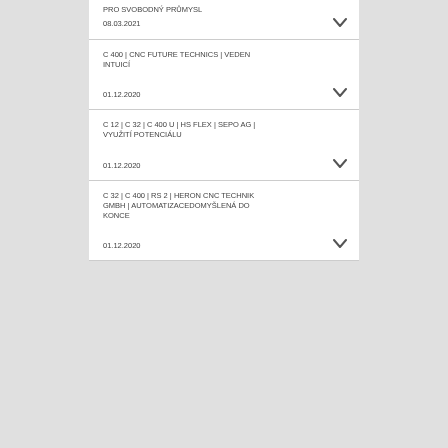PRO SVOBODNÝ PRŮMYSL
08.03.2021
C 400 | CNC FUTURE TECHNICS | VEDEN INTUICÍ
01.12.2020
C 12 | C 32 | C 400 U | HS FLEX | SEPO AG | VYUŽITÍ POTENCIÁLU
01.12.2020
C 32 | C 400 | RS 2 | HERON CNC TECHNIK GMBH | AUTOMATIZACEDOMYŠLENÁ DO KONCE
01.12.2020